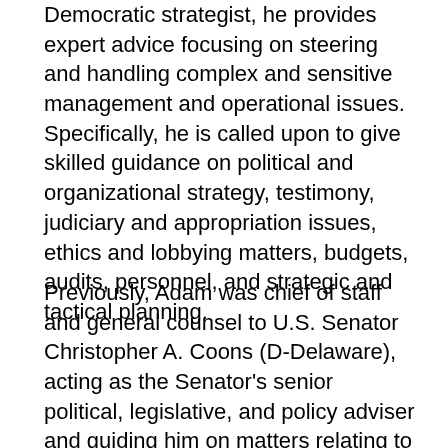Democratic strategist, he provides expert advice focusing on steering and handling complex and sensitive management and operational issues. Specifically, he is called upon to give skilled guidance on political and organizational strategy, testimony, judiciary and appropriation issues, ethics and lobbying matters, budgets, audits, personnel, and strategic and tactical planning.
Previously, Adam was chief of staff and general counsel to U.S. Senator Christopher A. Coons (D-Delaware), acting as the Senator's senior political, legislative, and policy adviser and guiding him on matters relating to the Senator's Committee service, especially Appropriations, Foreign Relations, Judiciary, Small Business, and Ethics, and supervising a staff of 30 in the Senator's Washington, D.C. office. Formerly, Adam served for 13 years as general counsel to the Secretary of the United States Senate where he